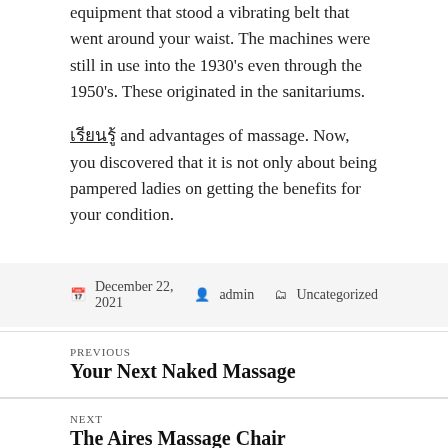equipment that stood a vibrating belt that went around your waist. The machines were still in use into the 1930's even through the 1950's. These originated in the sanitariums.
เรียนรู้ and advantages of massage. Now, you discovered that it is not only about being pampered ladies on getting the benefits for your condition.
December 22, 2021  admin  Uncategorized
PREVIOUS
Your Next Naked Massage
NEXT
The Aires Massage Chair
Proudly powered by WordPress